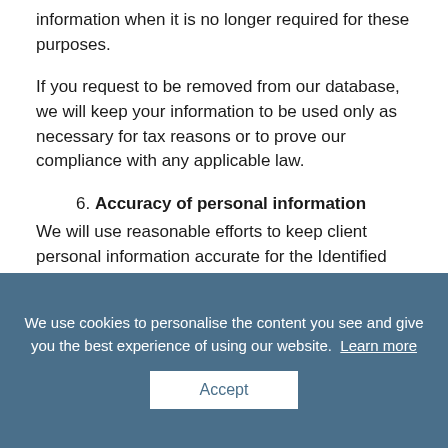information when it is no longer required for these purposes.
If you request to be removed from our database, we will keep your information to be used only as necessary for tax reasons or to prove our compliance with any applicable law.
6. Accuracy of personal information
We will use reasonable efforts to keep client personal information accurate for the Identified Purposes, and for minimising the possibility of making inappropriate client decisions based on such information. Clients are responsible for informing BoostMyLife about changes to their personal
We use cookies to personalise the content you see and give you the best experience of using our website. Learn more
Accept